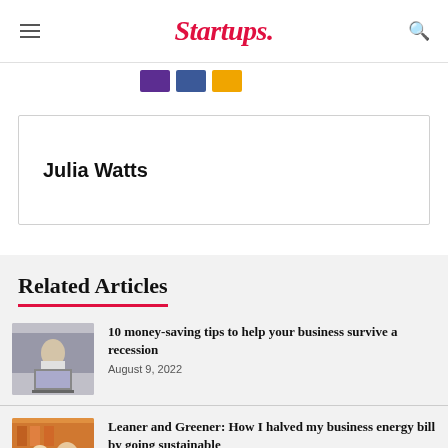Startups.
Julia Watts
Related Articles
10 money-saving tips to help your business survive a recession
August 9, 2022
Leaner and Greener: How I halved my business energy bill by going sustainable